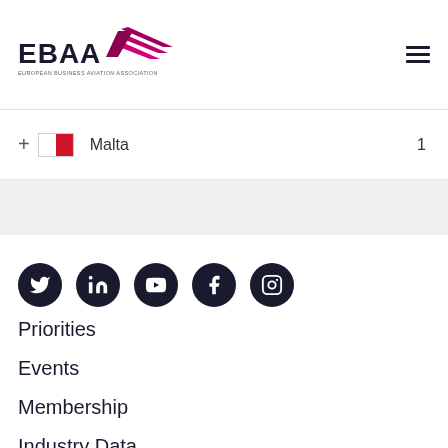EBAA European Business Aviation Association
Malta  1
[Figure (other): Social media icons row: Twitter, LinkedIn, YouTube, Facebook, Instagram — dark navy circular icons]
Priorities
Events
Membership
Industry Data